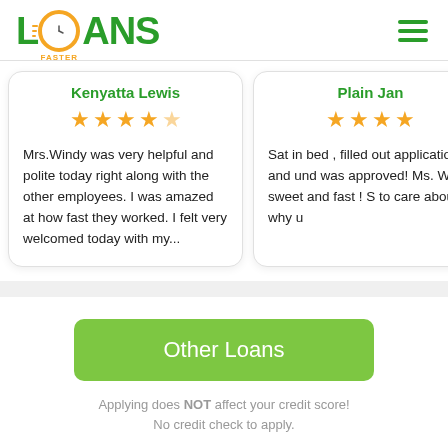[Figure (logo): Loans Faster logo with green text and orange clock icon]
[Figure (illustration): Green hamburger menu icon (three horizontal lines)]
Kenyatta Lewis
[Figure (illustration): 4.5 out of 5 orange stars rating]
Mrs.Windy was very helpful and polite today right along with the other employees. I was amazed at how fast they worked. I felt very welcomed today with my...
Plain Jan
[Figure (illustration): 4 out of 5 orange stars rating (partially visible)]
Sat in bed , filled out application and und was approved! Ms. W so sweet and fast ! S to care about why u
Other Loans
Applying does NOT affect your credit score!
No credit check to apply.